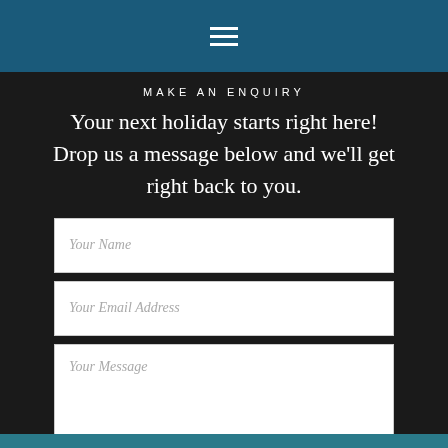≡
MAKE AN ENQUIRY
Your next holiday starts right here! Drop us a message below and we'll get right back to you.
Your Name
Your Email Address
Your Message